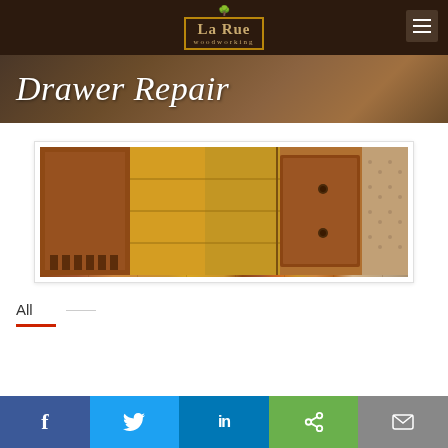La Rue woodworking — navigation header
Drawer Repair
[Figure (photo): Wooden drawer parts laid flat on a burlap surface — showing dovetail joinery and drawer face components in various shades of brown wood]
All
Social share buttons: Facebook, Twitter, LinkedIn, Share, Email